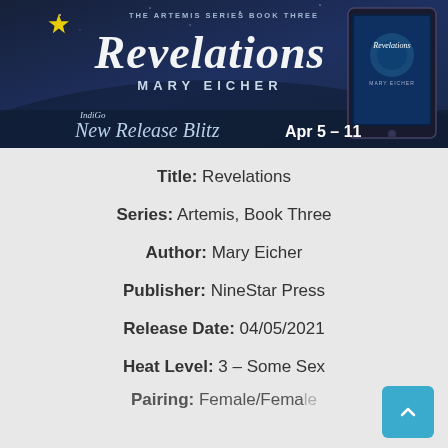[Figure (illustration): Book promotional banner for 'Revelations' by Mary Eicher, The Artemis Series Book Three. IndiGo New Release Blitz Apr 5-11. Dark blue background with stylized title text and a tablet showing the book cover.]
Title: Revelations
Series: Artemis, Book Three
Author: Mary Eicher
Publisher: NineStar Press
Release Date: 04/05/2021
Heat Level: 3 – Some Sex
Pairing: Female/Female